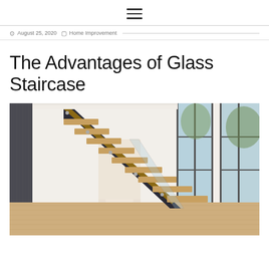≡ (hamburger menu icon)
August 25, 2020  Home Improvement
The Advantages of Glass Staircase
[Figure (photo): Interior photo of a modern home featuring a floating glass staircase with wooden treads and a dark steel stringer, set against large floor-to-ceiling windows with views of trees outside. The space has white walls and light hardwood flooring.]